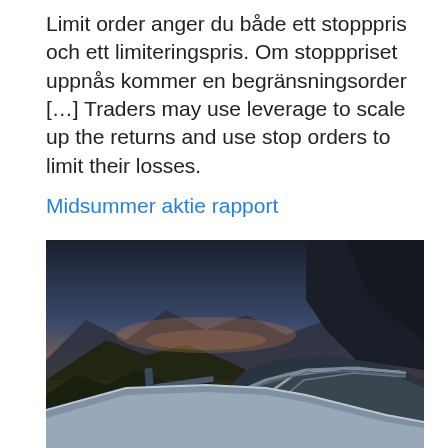Limit order anger du både ett stopppris och ett limiteringspris. Om stopppriset uppnås kommer en begränsningsorder […] Traders may use leverage to scale up the returns and use stop orders to limit their losses.
Midsummer aktie rapport
[Figure (photo): A winding mountain road at dusk/dawn, with guardrails curving through the scene. Mountains in the background under a gradient sky from orange near the horizon to dark blue above.]